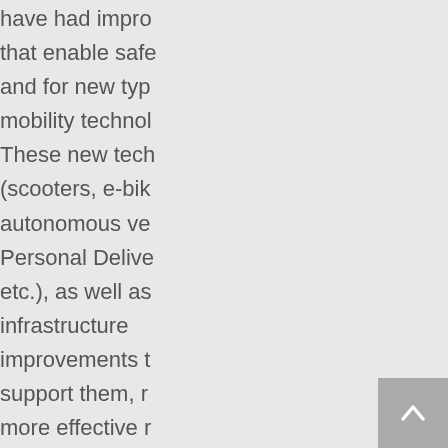have had improvements that enable safer use and for new types of mobility technologies. These new technologies (scooters, e-bikes, autonomous vehicles, Personal Delivery Devices, etc.), as well as infrastructure improvements to support them, require more effective management, oversight, and accountability with increased transparency